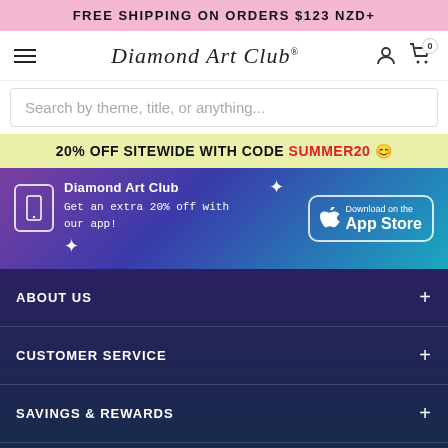FREE SHIPPING ON ORDERS $123 NZD+
[Figure (logo): Diamond Art Club navigation bar with hamburger menu, cursive logo, person icon, and shopping cart icon]
Search by theme, title, or anything...
20% OFF SITEWIDE WITH CODE SUMMER20 😊
[Figure (infographic): App download banner with gradient purple to teal background. Diamond Art Club logo text, phone icon, 'Get an extra 20% off with our app!' text, plus stars, and Download on the App Store button]
ABOUT US +
CUSTOMER SERVICE +
SAVINGS & REWARDS +
[Figure (logo): Diamond Art Club cursive script logo in white on dark gradient background]
Let's keep in touch!